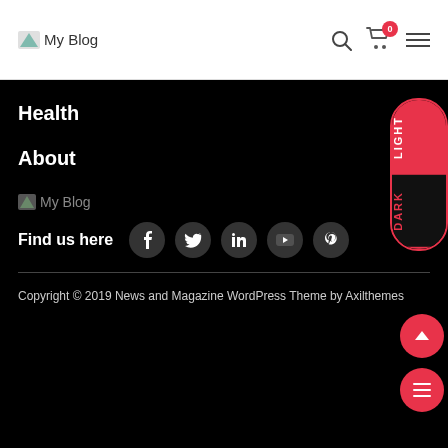My Blog
Health
About
[Figure (logo): My Blog logo in footer]
Find us here
Copyright © 2019 News and Magazine WordPress Theme by Axilthemes